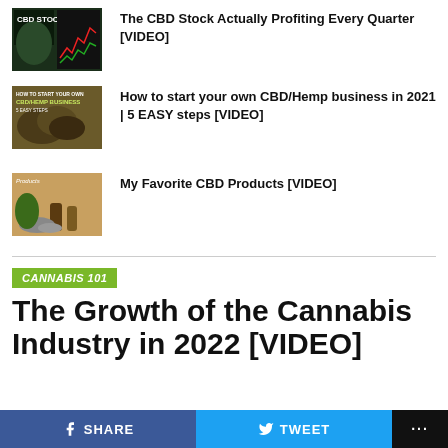The CBD Stock Actually Profiting Every Quarter [VIDEO]
How to start your own CBD/Hemp business in 2021 | 5 EASY steps [VIDEO]
My Favorite CBD Products [VIDEO]
CANNABIS 101
The Growth of the Cannabis Industry in 2022 [VIDEO]
SHARE   TWEET   ...